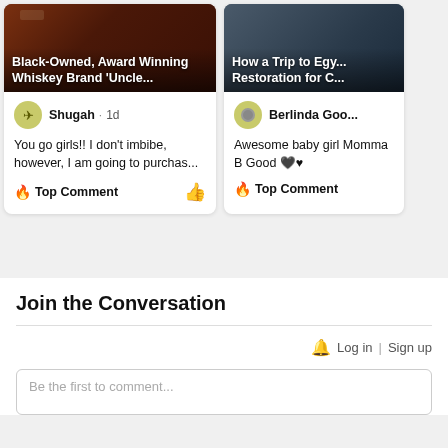[Figure (screenshot): Card with dark reddish-brown background image of whiskey bottles. Title overlay: 'Black-Owned, Award Winning Whiskey Brand \'Uncle...']
Shugah · 1d
You go girls!! I don't imbibe, however, I am going to purchas...
🔥 Top Comment
[Figure (screenshot): Partially visible card with dark blue-grey background image. Title overlay: 'How a Trip to Egy... Restoration for C...']
Berlinda Goo...
Awesome baby girl Momma B Good 🖤♥
🔥 Top Comment
Join the Conversation
Log in | Sign up
Be the first to comment...